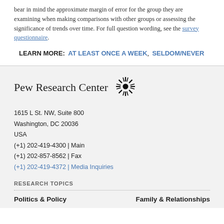bear in mind the approximate margin of error for the group they are examining when making comparisons with other groups or assessing the significance of trends over time. For full question wording, see the survey questionnaire.
LEARN MORE: AT LEAST ONCE A WEEK, SELDOM/NEVER
Pew Research Center
1615 L St. NW, Suite 800
Washington, DC 20036
USA
(+1) 202-419-4300 | Main
(+1) 202-857-8562 | Fax
(+1) 202-419-4372 | Media Inquiries
RESEARCH TOPICS
Politics & Policy	Family & Relationships